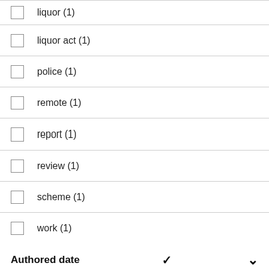liquor (1)
liquor act (1)
police (1)
remote (1)
report (1)
review (1)
scheme (1)
work (1)
Authored date
February 2022 (7)